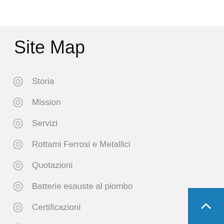Site Map
Storia
Mission
Servizi
Rottami Ferrosi e Metallici
Quotazioni
Batterie esauste al piombo
Certificazioni
Autorizzazioni